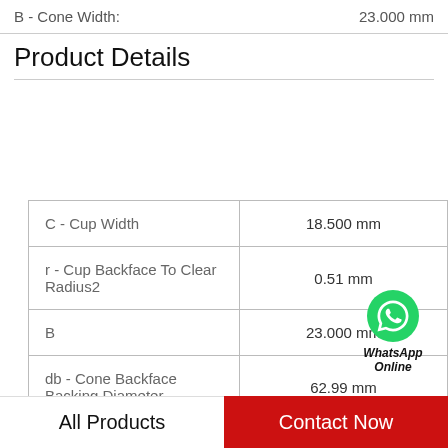B - Cone Width:	23.000 mm
Product Details
| Property | Value |
| --- | --- |
| C - Cup Width | 18.500 mm |
| r - Cup Backface To Clear Radius2 | 0.51 mm |
| B | 23.000 mm |
| db - Cone Backface Backing Diameter | 62.99 mm |
| Ca90 - Dynamic Thrust Rating (90 million revolutions)6 | 19400 N |
[Figure (logo): WhatsApp Online green phone icon with text 'WhatsApp Online']
All Products
Contact Now